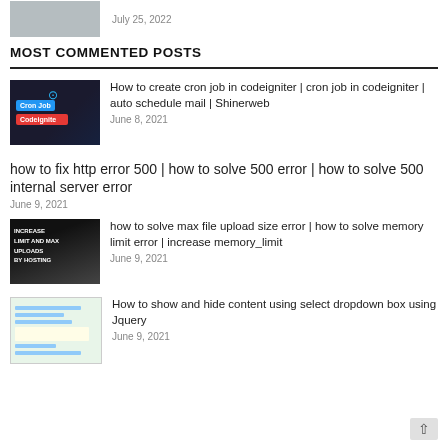[Figure (photo): Thumbnail image of a laptop/desk scene, partially visible at top]
July 25, 2022
MOST COMMENTED POSTS
[Figure (photo): Thumbnail showing Cron Job Codeigniter badges on dark background]
How to create cron job in codeigniter | cron job in codeigniter | auto schedule mail | Shinerweb
June 8, 2021
how to fix http error 500 | how to solve 500 error | how to solve 500 internal server error
June 9, 2021
[Figure (photo): Thumbnail with text: INCREASE LIMIT AND MAX UPLOADS BY HOSTING on dark background]
how to solve max file upload size error | how to solve memory limit error | increase memory_limit
June 9, 2021
[Figure (screenshot): Thumbnail showing a webpage screenshot with green header and form content]
How to show and hide content using select dropdown box using Jquery
June 9, 2021